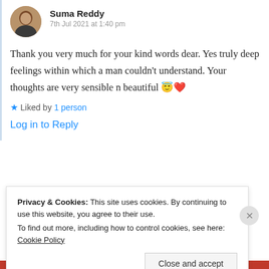Suma Reddy
7th Jul 2021 at 1:40 pm
Thank you very much for your kind words dear. Yes truly deep feelings within which a man couldn't understand. Your thoughts are very sensible n beautiful 😇❤️
★ Liked by 1 person
Log in to Reply
Privacy & Cookies: This site uses cookies. By continuing to use this website, you agree to their use.
To find out more, including how to control cookies, see here: Cookie Policy
Close and accept